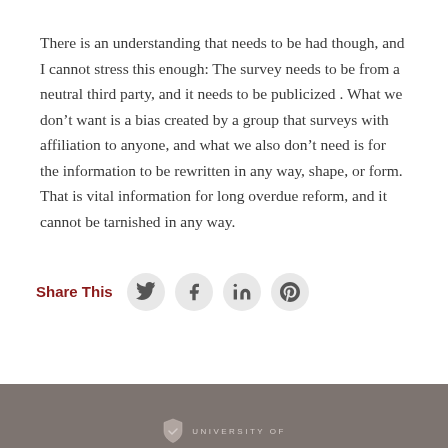There is an understanding that needs to be had though, and I cannot stress this enough: The survey needs to be from a neutral third party, and it needs to be publicized . What we don’t want is a bias created by a group that surveys with affiliation to anyone, and what we also don’t need is for the information to be rewritten in any way, shape, or form. That is vital information for long overdue reform, and it cannot be tarnished in any way.
Share This [Twitter] [Facebook] [LinkedIn] [Pinterest]
UNIVERSITY OF